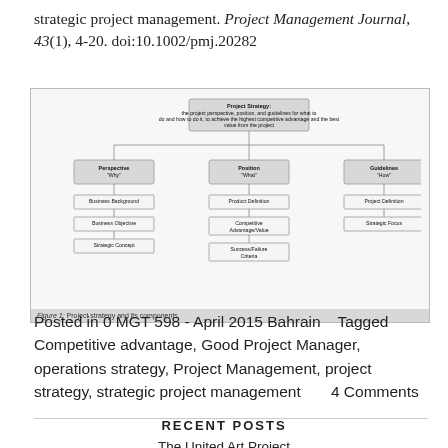strategic project management. Project Management Journal, 43(1), 4-20. doi:10.1002/pmj.20282
[Figure (flowchart): Flowchart showing Project Strategy and its components: Perspective (Why) with Business Background, Business Objective, Strategic Concept; Position (What) with Product Definition, Competitive Advantage/Value, Success/Failure Criteria; Guidelines (How) with Project Definition, Strategic Focus.]
Figure 1: Project strategy and its components.
Posted in 0 MGT 598 - April 2015 Bahrain   Tagged Competitive advantage, Good Project Manager, operations strategy, Project Management, project strategy, strategic project management      4 Comments
RECENT POSTS
The United Art Project
TEAM 1: Donation Dash Padel
International Men's Health Project